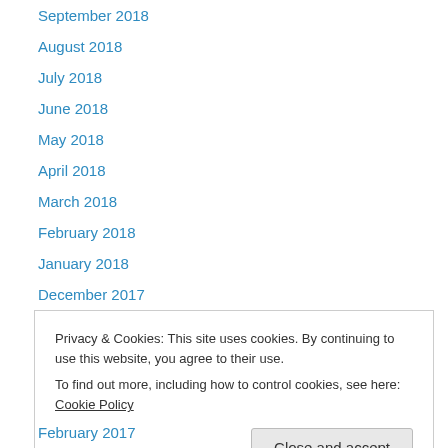September 2018
August 2018
July 2018
June 2018
May 2018
April 2018
March 2018
February 2018
January 2018
December 2017
November 2017
October 2017
September 2017
Privacy & Cookies: This site uses cookies. By continuing to use this website, you agree to their use. To find out more, including how to control cookies, see here: Cookie Policy
February 2017